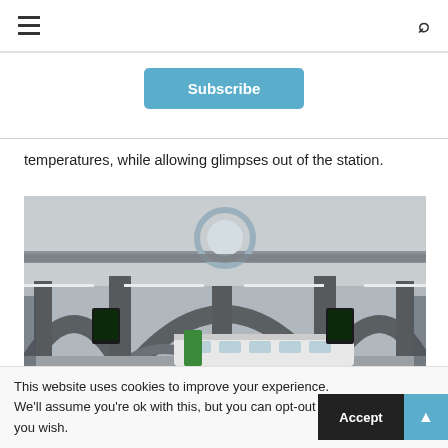☰  🔍
Subscribe
temperatures, while allowing glimpses out of the station.
[Figure (photo): Interior of a large railway station showing concrete arched roof structures with columns, circular skylight, and trains visible on platforms below.]
This website uses cookies to improve your experience. We'll assume you're ok with this, but you can opt-out if you wish.